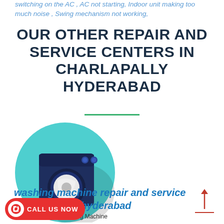switching on the AC , AC not starting, Indoor unit making too much noise , Swing mechanism not working,
OUR OTHER REPAIR AND SERVICE CENTERS IN CHARLAPALLY HYDERABAD
[Figure (illustration): Washing machine icon: a dark navy blue front-load washing machine with a circular white/grey door window and two small circular control buttons on top, on a light teal/turquoise circular background with a diagonal shadow.]
washing machine repair and service in charlapally hyderabad
t on-site top load Washing Machine
[Figure (other): Red call-to-action button with phone icon and text CALL US NOW]
[Figure (other): Red upward arrow with horizontal underline]